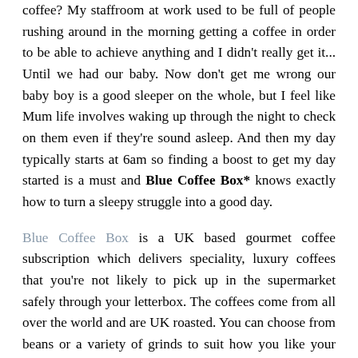coffee? My staffroom at work used to be full of people rushing around in the morning getting a coffee in order to be able to achieve anything and I didn't really get it... Until we had our baby. Now don't get me wrong our baby boy is a good sleeper on the whole, but I feel like Mum life involves waking up through the night to check on them even if they're sound asleep. And then my day typically starts at 6am so finding a boost to get my day started is a must and Blue Coffee Box* knows exactly how to turn a sleepy struggle into a good day.
Blue Coffee Box is a UK based gourmet coffee subscription which delivers speciality, luxury coffees that you're not likely to pick up in the supermarket safely through your letterbox. The coffees come from all over the world and are UK roasted. You can choose from beans or a variety of grinds to suit how you like your coffee prepared. I chose the cafetière box which comes with two different coarse grind coffees. You then get to choose from a light, medium or dark roast or like I did, the surprise me option. The last way to personalise your subscription is by choosing how often you'd like a box - fortnightly, monthly or every two months.